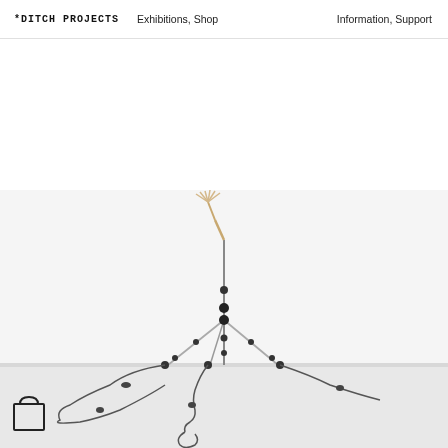DITCH PROJECTS   Exhibitions, Shop   Information, Support
[Figure (photo): A tripod-like sculptural installation in a white gallery space. The tripod has wires/cables extending from it along the floor, with small black connectors. At the top of the tripod is a wooden stick-like element with fan-shaped wooden pieces. A shopping bag icon is visible in the bottom left corner of the image.]